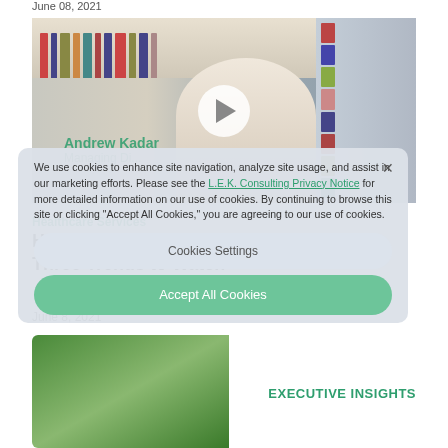June 08, 2021
[Figure (screenshot): Video thumbnail of Andrew Kadar with bookshelf background and play button overlay. Label reads VIDEO / WEBINAR in green top right.]
Andrew Kadar
Managing Di...
We use cookies to enhance site navigation, analyze site usage, and assist in our marketing efforts. Please see the L.E.K. Consulting Privacy Notice for more detailed information on our use of cookies. By continuing to browse this site or clicking "Accept All Cookies," you are agreeing to our use of cookies.
Cookies Settings
Accept All Cookies
Healthcare Services
Healthcare in a Post-COVID-19 World: Three Trends to Watch
June 8, 2021
[Figure (photo): Bottom partial image strip with green tones, partial face visible.]
EXECUTIVE INSIGHTS